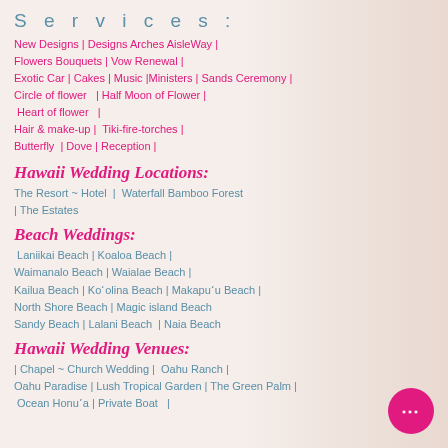Services:
New Designs | Designs Arches Aisle Way | Flowers Bouquets | Vow Renewal | Exotic Car | Cakes | Music | Ministers  | Sands Ceremony  | Circle of flower   | Half Moon of Flower  |  Heart of flower  | Hair & make-up |  Tiki-fire-torches | Butterfly  | Dove | Reception |
Hawaii Wedding Locations:
The Resort ~ Hotel  |  Waterfall Bamboo Forest | The Estates
Beach Weddings:
Laniikai Beach | Koaloa Beach | Waimanalo Beach | Waialae Beach | Kailua Beach | Ko'olina Beach | Makapu'u Beach | North Shore Beach | Magic island Beach Sandy Beach | Lalani Beach  | Naia Beach
Hawaii Wedding Venues:
| Chapel ~ Church Wedding |  Oahu Ranch | Oahu Paradise | Lush Tropical Garden | The Green Palm | Ocean Honu'a | Private Boat  |